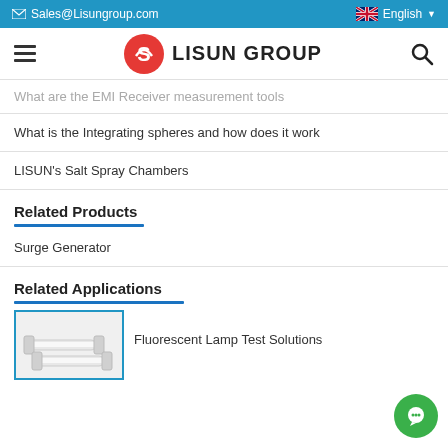Sales@Lisungroup.com   English
[Figure (logo): Lisun Group logo with hamburger menu and search icon in navigation bar]
What are the EMI Receiver measurement tools
What is the Integrating spheres and how does it work
LISUN's Salt Spray Chambers
Related Products
Surge Generator
Related Applications
Fluorescent Lamp Test Solutions
[Figure (photo): Fluorescent lamp test product image]